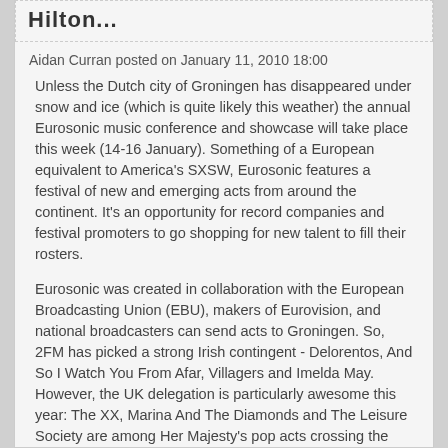Hilton...
Aidan Curran posted on January 11, 2010 18:00
Unless the Dutch city of Groningen has disappeared under snow and ice (which is quite likely this weather) the annual Eurosonic music conference and showcase will take place this week (14-16 January). Something of a European equivalent to America's SXSW, Eurosonic features a festival of new and emerging acts from around the continent. It's an opportunity for record companies and festival promoters to go shopping for new talent to fill their rosters.
Eurosonic was created in collaboration with the European Broadcasting Union (EBU), makers of Eurovision, and national broadcasters can send acts to Groningen. So, 2FM has picked a strong Irish contingent - Delorentos, And So I Watch You From Afar, Villagers and Imelda May. However, the UK delegation is particularly awesome this year: The XX, Marina And The Diamonds and The Leisure Society are among Her Majesty's pop acts crossing the North Sea this week.
As for other European acts you might know, Annie was due to play but the Norwegian pop princess has cancelled her appearance. But we see that Icelandic electro group FM Belfast and Swiss chanteuse Sophie Hunger will be there -